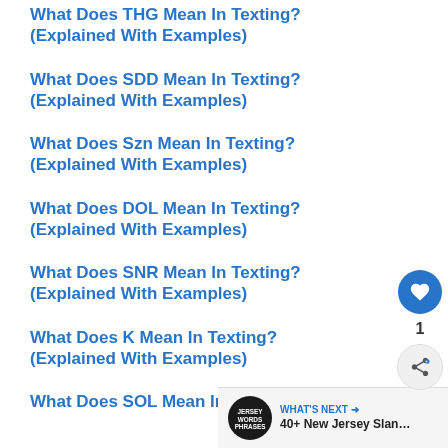What Does THG Mean In Texting? (Explained With Examples)
What Does SDD Mean In Texting? (Explained With Examples)
What Does Szn Mean In Texting? (Explained With Examples)
What Does DOL Mean In Texting? (Explained With Examples)
What Does SNR Mean In Texting? (Explained With Examples)
What Does K Mean In Texting? (Explained With Examples)
What Does SOL Mean In Texting?